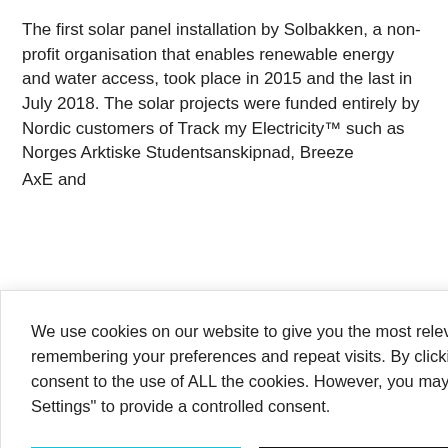The first solar panel installation by Solbakken, a non-profit organisation that enables renewable energy and water access, took place in 2015 and the last in July 2018. The solar projects were funded entirely by Nordic customers of Track my Electricity™ such as Norges Arktiske Studentsanskipnad, Breeze AS, Hitlerne, SWIFT and Parishanders Globaxe and ... of clean energy ... nding renewable ... nate energy ... easy feat. The ... yanmar (Burma) ... oads and ... involves trekking ... n foot, through ... nsoon season.
We use cookies on our website to give you the most relevant experience by remembering your preferences and repeat visits. By clicking "Accept All", you consent to the use of ALL the cookies. However, you may visit "Cookie Settings" to provide a controlled consent.